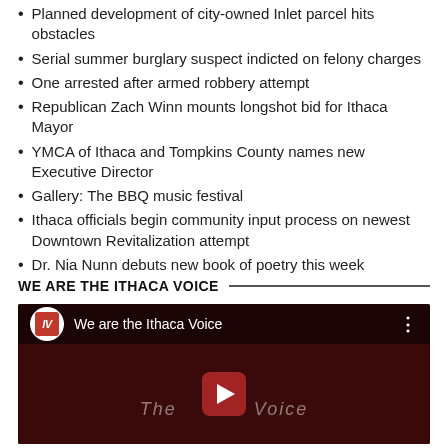Planned development of city-owned Inlet parcel hits obstacles
Serial summer burglary suspect indicted on felony charges
One arrested after armed robbery attempt
Republican Zach Winn mounts longshot bid for Ithaca Mayor
YMCA of Ithaca and Tompkins County names new Executive Director
Gallery: The BBQ music festival
Ithaca officials begin community input process on newest Downtown Revitalization attempt
Dr. Nia Nunn debuts new book of poetry this week
WE ARE THE ITHACA VOICE
[Figure (screenshot): Embedded YouTube-style video player showing 'We are the Ithaca Voice' with Ithaca Voice logo (IV in red square on white circle), play button overlay, and dark red background with silhouetted figures.]